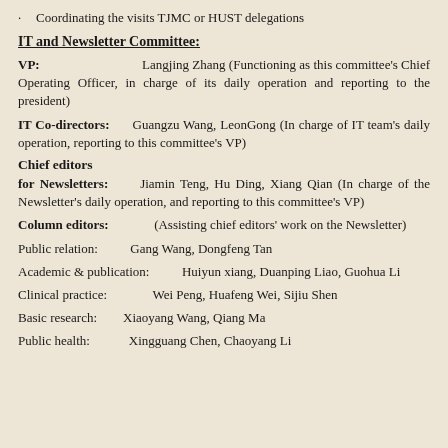· Coordinating the visits TJMC or HUST delegations
IT and Newsletter Committee:
VP: Langjing Zhang (Functioning as this committee's Chief Operating Officer, in charge of its daily operation and reporting to the president)
IT Co-directors: Guangzu Wang, LeonGong (In charge of IT team's daily operation, reporting to this committee's VP)
Chief editors
for Newsletters: Jiamin Teng, Hu Ding, Xiang Qian (In charge of the Newsletter's daily operation, and reporting to this committee's VP)
Column editors: (Assisting chief editors' work on the Newsletter)
Public relation: Gang Wang, Dongfeng Tan
Academic & publication: Huiyun xiang, Duanping Liao, Guohua Li
Clinical practice: Wei Peng, Huafeng Wei, Sijiu Shen
Basic research: Xiaoyang Wang, Qiang Ma
Public health: Xingguang Chen, Chaoyang Li